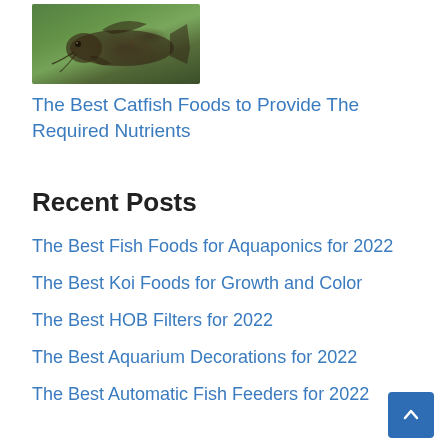[Figure (photo): A catfish photographed near aquatic plants, viewed from the side in a natural aquarium or river environment.]
The Best Catfish Foods to Provide The Required Nutrients
Recent Posts
The Best Fish Foods for Aquaponics for 2022
The Best Koi Foods for Growth and Color
The Best HOB Filters for 2022
The Best Aquarium Decorations for 2022
The Best Automatic Fish Feeders for 2022